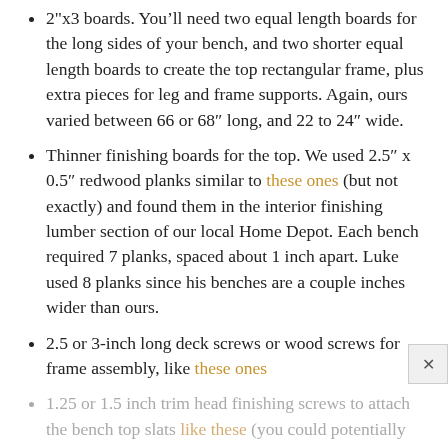2"x3 boards. You'll need two equal length boards for the long sides of your bench, and two shorter equal length boards to create the top rectangular frame, plus extra pieces for leg and frame supports. Again, ours varied between 66 or 68" long, and 22 to 24" wide.
Thinner finishing boards for the top. We used 2.5" x 0.5" redwood planks similar to these ones (but not exactly) and found them in the interior finishing lumber section of our local Home Depot. Each bench required 7 planks, spaced about 1 inch apart. Luke used 8 planks since his benches are a couple inches wider than ours.
2.5 or 3-inch long deck screws or wood screws for frame assembly, like these ones
1.25 or 1.5 inch trim head finishing screws to attach the bench top slats like these (you could potentially use up to 2", if your top planks are thicker than 0.5")